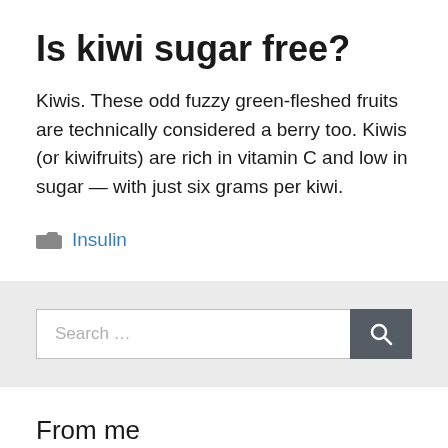Is kiwi sugar free?
Kiwis. These odd fuzzy green-fleshed fruits are technically considered a berry too. Kiwis (or kiwifruits) are rich in vitamin C and low in sugar — with just six grams per kiwi.
Insulin
Search …
From me